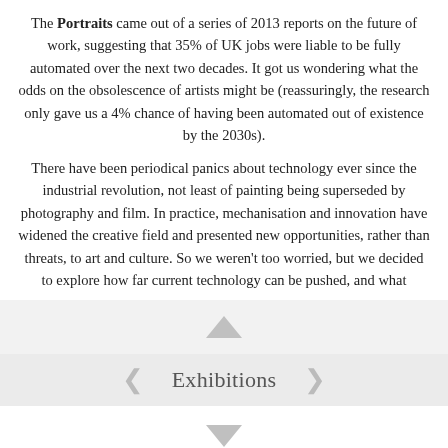The Portraits came out of a series of 2013 reports on the future of work, suggesting that 35% of UK jobs were liable to be fully automated over the next two decades. It got us wondering what the odds on the obsolescence of artists might be (reassuringly, the research only gave us a 4% chance of having been automated out of existence by the 2030s).
There have been periodical panics about technology ever since the industrial revolution, not least of painting being superseded by photography and film. In practice, mechanisation and innovation have widened the creative field and presented new opportunities, rather than threats, to art and culture. So we weren't too worried, but we decided to explore how far current technology can be pushed, and what
[Figure (other): Navigation arrow pointing up (chevron/caret) in light grey, centered in a light grey band]
Exhibitions
[Figure (other): Navigation arrow pointing down (chevron/caret) in light grey, centered at the bottom]